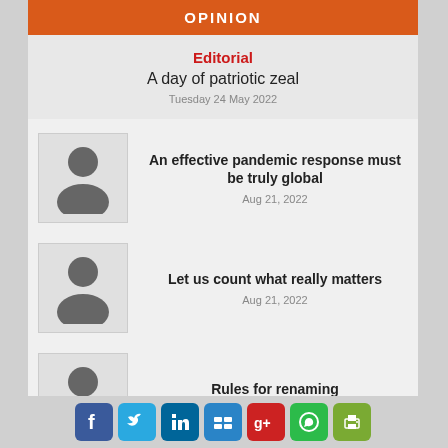OPINION
Editorial
A day of patriotic zeal
Tuesday 24 May 2022
[Figure (illustration): Generic person avatar silhouette]
An effective pandemic response must be truly global
Aug 21, 2022
[Figure (illustration): Generic person avatar silhouette]
Let us count what really matters
Aug 21, 2022
[Figure (illustration): Generic person avatar silhouette]
Rules for renaming
Aug 21, 2022